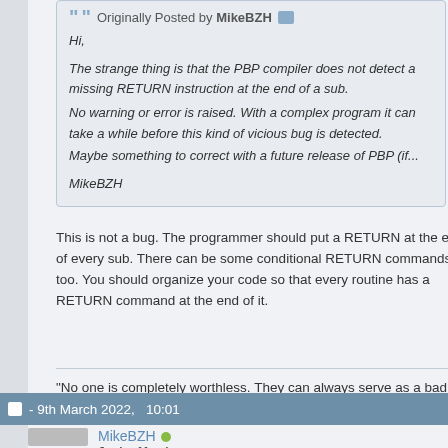Originally Posted by MikeBZH
Hi,

The strange thing is that the PBP compiler does not detect a missing RETURN instruction at the end of a sub.
No warning or error is raised. With a complex program it can take a while before this kind of vicious bug is detected.
Maybe something to correct with a future release of PBP (if...

MikeBZH
This is not a bug. The programmer should put a RETURN at the end of every sub. There can be some conditional RETURN commands too. You should organize your code so that every routine has a RETURN command at the end of it.
"No one is completely worthless. They can always serve as a bad e...
Anonymous
- 9th March 2022,   10:01
MikeBZH
Junior Member